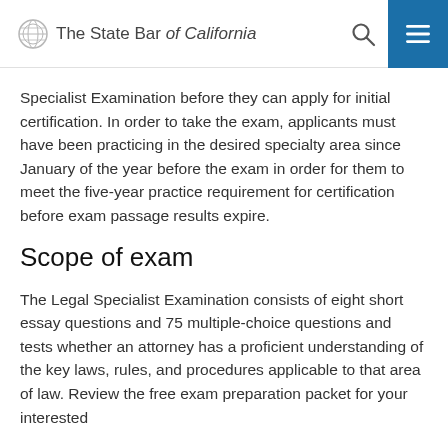The State Bar of California
Specialist Examination before they can apply for initial certification. In order to take the exam, applicants must have been practicing in the desired specialty area since January of the year before the exam in order for them to meet the five-year practice requirement for certification before exam passage results expire.
Scope of exam
The Legal Specialist Examination consists of eight short essay questions and 75 multiple-choice questions and tests whether an attorney has a proficient understanding of the key laws, rules, and procedures applicable to that area of law. Review the free exam preparation packet for your interested